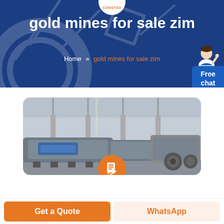CONSTED
gold mines for sale zim
Home » gold mines for sale zim
[Figure (photo): Factory floor with heavy industrial mining/processing machinery in a large warehouse. Gray metal conveyor equipment in the foreground, columns and industrial equipment in the background.]
Get a Quote
WhatsApp